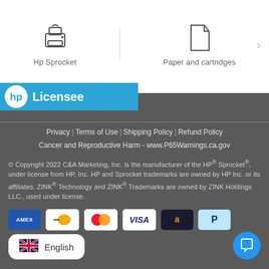[Figure (screenshot): Navigation bar with HP Sprocket icon and Paper and cartridges icon, with right arrow]
[Figure (logo): HP Licensee banner with HP logo on blue background]
Privacy | Terms of Use | Shipping Policy | Refund Policy
Cancer and Reproductive Harm - www.P65Warnings.ca.gov
© Copyright 2022 C&A Marketing, Inc. is the manufacturer of the HP® Sprocket®, under license from HP, Inc. HP and Sprocket trademarks are owned by HP Inc. or its affiliates. ZINK® Technology and ZINK® Trademarks are owned by ZINK Holdings LLC., used under license.
[Figure (infographic): Payment method icons: AMEX, Discover, Mastercard, Visa, Amazon Pay, PayPal]
English
[Figure (other): Chat button icon (speech bubble) in blue circle]